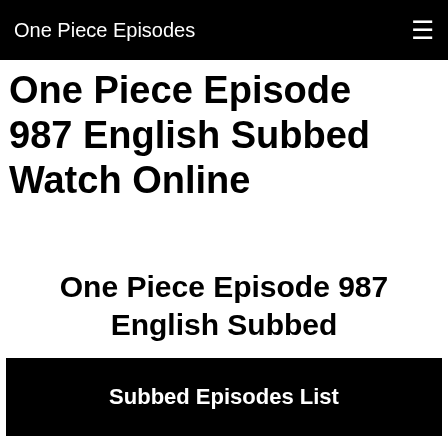One Piece Episodes
One Piece Episode 987 English Subbed Watch Online
One Piece Episode 987 English Subbed
Subbed Episodes List